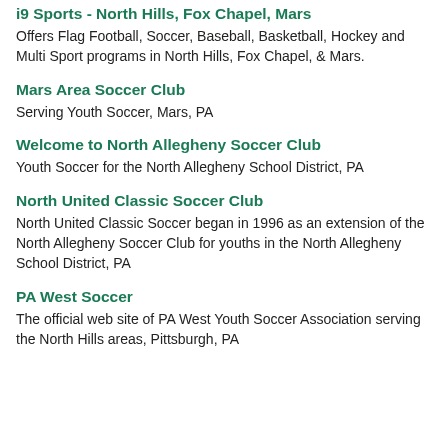i9 Sports - North Hills, Fox Chapel, Mars
Offers Flag Football, Soccer, Baseball, Basketball, Hockey and Multi Sport programs in North Hills, Fox Chapel, & Mars.
Mars Area Soccer Club
Serving Youth Soccer, Mars, PA
Welcome to North Allegheny Soccer Club
Youth Soccer for the North Allegheny School District, PA
North United Classic Soccer Club
North United Classic Soccer began in 1996 as an extension of the North Allegheny Soccer Club for youths in the North Allegheny School District, PA
PA West Soccer
The official web site of PA West Youth Soccer Association serving the North Hills areas, Pittsburgh, PA